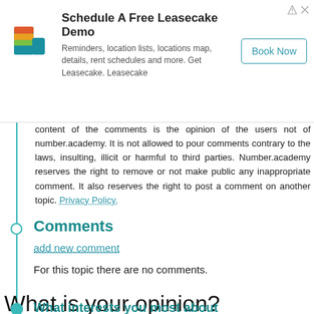[Figure (other): Leasecake advertisement banner with logo, text and Book Now button]
content of the comments is the opinion of the users not of number.academy. It is not allowed to pour comments contrary to the laws, insulting, illicit or harmful to third parties. Number.academy reserves the right to remove or not make public any inappropriate comment. It also reserves the right to post a comment on another topic. Privacy Policy.
Comments
add new comment
For this topic there are no comments.
What is your opinion?
What interests you most about